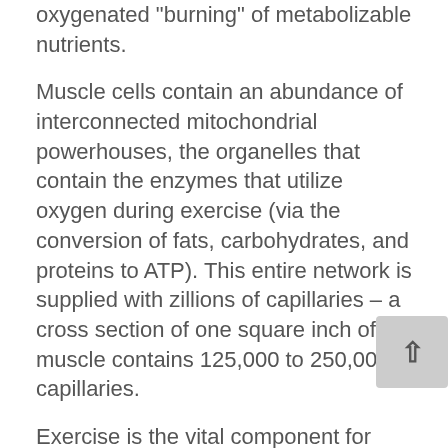oxygenated "burning" of metabolizable nutrients.
Muscle cells contain an abundance of interconnected mitochondrial powerhouses, the organelles that contain the enzymes that utilize oxygen during exercise (via the conversion of fats, carbohydrates, and proteins to ATP). This entire network is supplied with zillions of capillaries – a cross section of one square inch of muscle contains 125,000 to 250,000 capillaries.
Exercise is the vital component for improving overall muscular function. It enhances the efficiency of the mitochondrial power-packs (and over time increases their numbers), and increases the number of functional capillaries